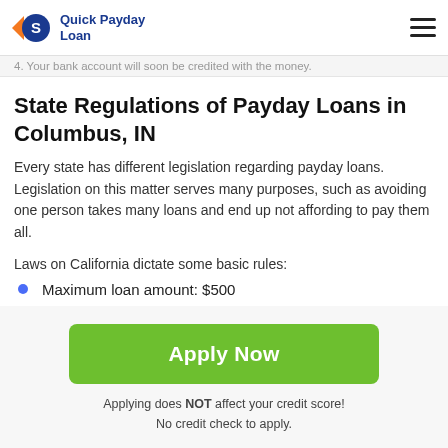Quick Payday Loan
4. Your bank account will soon be credited with the money.
State Regulations of Payday Loans in Columbus, IN
Every state has different legislation regarding payday loans. Legislation on this matter serves many purposes, such as avoiding one person takes many loans and end up not affording to pay them all.
Laws on California dictate some basic rules:
Maximum loan amount: $500
Apply Now
Applying does NOT affect your credit score!
No credit check to apply.